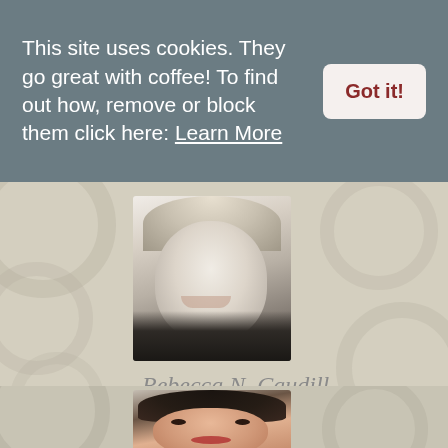This site uses cookies. They go great with coffee! To find out how, remove or block them click here: Learn More
Got it!
[Figure (photo): Black and white headshot of a young woman with light blonde hair, smiling]
Rebecca N. Caudill
March 20th, 2015
The Witching Hour is one of my favorite books ever! The first time I visited NOLA I may have squealed when I saw Deidre's porch in person.
[Figure (photo): Black and white headshot of a woman with dark hair]